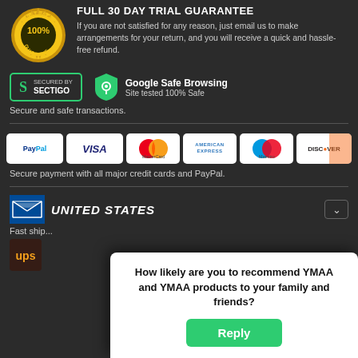FULL 30 DAY TRIAL GUARANTEE
If you are not satisfied for any reason, just email us to make arrangements for your return, and you will receive a quick and hassle-free refund.
[Figure (logo): Secured by Sectigo badge with green border]
[Figure (logo): Google Safe Browsing shield logo with text 'Site tested 100% Safe']
Secure and safe transactions.
[Figure (logo): Payment method logos: PayPal, VISA, MasterCard, American Express, Maestro, DISCOVER]
Secure payment with all major credit cards and PayPal.
[Figure (logo): USPS logo with UNITED STATES text]
Fast ship...
[Figure (logo): UPS logo]
How likely are you to recommend YMAA and YMAA products to your family and friends?